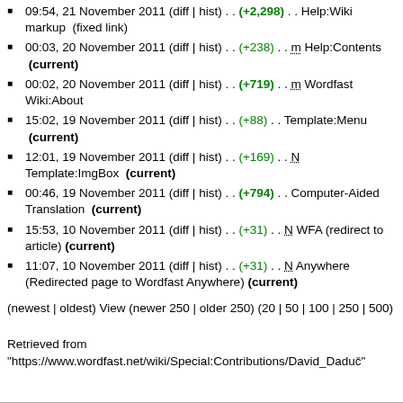09:54, 21 November 2011 (diff | hist) . . (+2,298) . . Help:Wiki markup  (fixed link)
00:03, 20 November 2011 (diff | hist) . . (+238) . . m Help:Contents  (current)
00:02, 20 November 2011 (diff | hist) . . (+719) . . m Wordfast Wiki:About
15:02, 19 November 2011 (diff | hist) . . (+88) . . Template:Menu  (current)
12:01, 19 November 2011 (diff | hist) . . (+169) . . N Template:ImgBox  (current)
00:46, 19 November 2011 (diff | hist) . . (+794) . . Computer-Aided Translation  (current)
15:53, 10 November 2011 (diff | hist) . . (+31) . . N WFA (redirect to article)  (current)
11:07, 10 November 2011 (diff | hist) . . (+31) . . N Anywhere (Redirected page to Wordfast Anywhere)  (current)
(newest | oldest) View (newer 250 | older 250) (20 | 50 | 100 | 250 | 500)
Retrieved from "https://www.wordfast.net/wiki/Special:Contributions/David_Daduč"